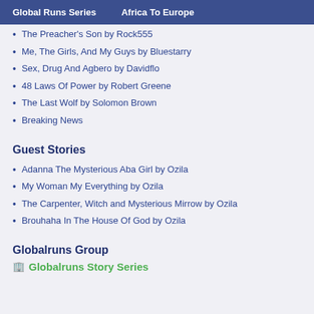Global Runs Series    Africa To Europe
The Preacher's Son by Rock555
Me, The Girls, And My Guys by Bluestarry
Sex, Drug And Agbero by Davidflo
48 Laws Of Power by Robert Greene
The Last Wolf by Solomon Brown
Breaking News
Guest Stories
Adanna The Mysterious Aba Girl by Ozila
My Woman My Everything by Ozila
The Carpenter, Witch and Mysterious Mirrow by Ozila
Brouhaha In The House Of God by Ozila
Globalruns Group
Globalruns Story Series